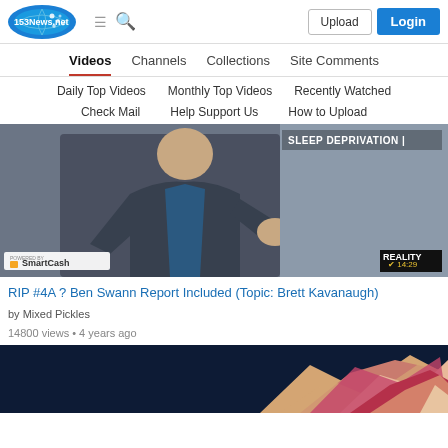153News.net header with Upload and Login buttons
Videos | Channels | Collections | Site Comments
Daily Top Videos  Monthly Top Videos  Recently Watched
Check Mail  Help Support Us  How to Upload
[Figure (screenshot): Video thumbnail showing a man in a dark blazer gesturing, with 'SLEEP DEPRIVATION' text in upper right, SmartCash badge in lower left, and Reality Check badge with 14:29 timestamp in lower right]
RIP #4A ? Ben Swann Report Included (Topic: Brett Kavanaugh)
by Mixed Pickles
14800 views • 4 years ago
[Figure (screenshot): Partial video thumbnail showing colorful geometric mountain/polygon shapes on dark blue background]